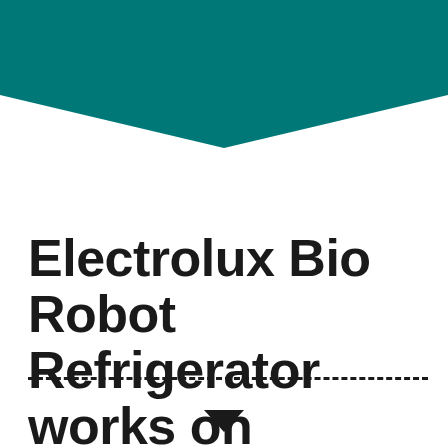[Figure (illustration): Teal/dark cyan chevron or arrow shape pointing downward at the top of the page, decorative header graphic]
Electrolux Bio Robot Refrigerator works on